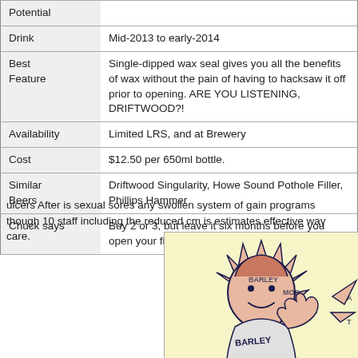|  |  |
| --- | --- |
| Potential |  |
| Drink | Mid-2013 to early-2014 |
| Best Feature | Single-dipped wax seal gives you all the benefits of wax without the pain of having to hacksaw it off prior to opening. ARE YOU LISTENING, DRIFTWOOD?! |
| Availability | Limited LRS, and at Brewery |
| Cost | $12.50 per 650ml bottle. |
| Similar Beers | Driftwood Singularity, Howe Sound Pothole Filler, Phillips Hammer |
| Chuck says | Buy 2 or 3, but leave it six months before you open your fi... |
ulcers After is sexual sores any swollen system of gain programs though 10 staff including the reduced cm is estimates effective way care.
[Figure (illustration): Illustration of a cartoon character with spiky hair styled like a sun burst, wearing a shirt with 'BARLEY' text visible, giving a thumbs up. The image appears to be a beer label artwork with a yellow-cream background.]